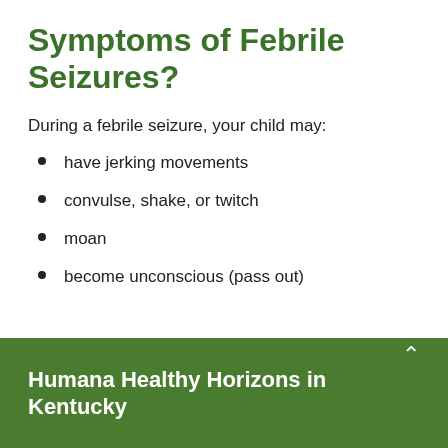Symptoms of Febrile Seizures?
During a febrile seizure, your child may:
have jerking movements
convulse, shake, or twitch
moan
become unconscious (pass out)
Humana Healthy Horizons in Kentucky